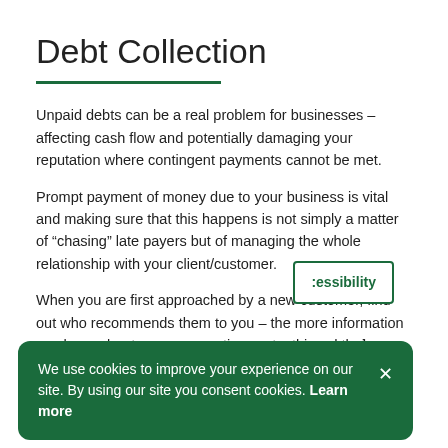Debt Collection
Unpaid debts can be a real problem for businesses – affecting cash flow and potentially damaging your reputation where contingent payments cannot be met.
Prompt payment of money due to your business is vital and making sure that this happens is not simply a matter of “chasing” late payers but of managing the whole relationship with your client/customer.
When you are first approached by a new customer, find out who recommends them to you – the more information you have about your prospective customer and their circumstances, the better [creditworthiness and accessibility prompt]
We use cookies to improve your experience on our site. By using our site you consent cookies. Learn more